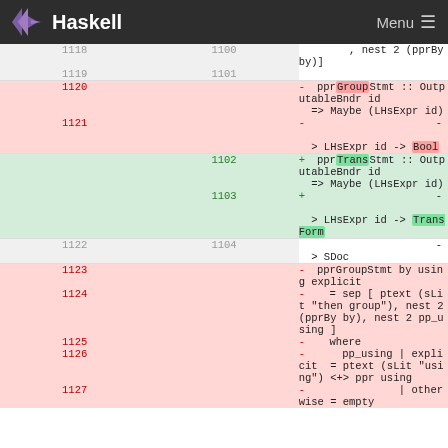Haskell  Menu
[Figure (screenshot): A diff view of Haskell source code showing removed lines (red background) with pprGroupStmt and added lines (green background) with pprTransStmt. Line numbers shown in two columns for old and new versions.]